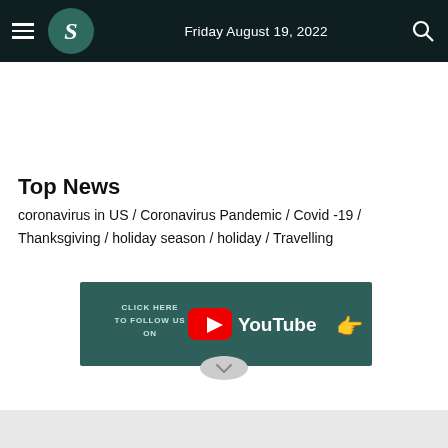Friday August 19, 2022
Top News
coronavirus in US / Coronavirus Pandemic / Covid -19 / Thanksgiving / holiday season / holiday / Travelling
[Figure (screenshot): YouTube follow banner with text: CLICK HERE TO FOLLOW US ON YouTube, with YouTube play button logo and hand pointer icon, on dark teal background]